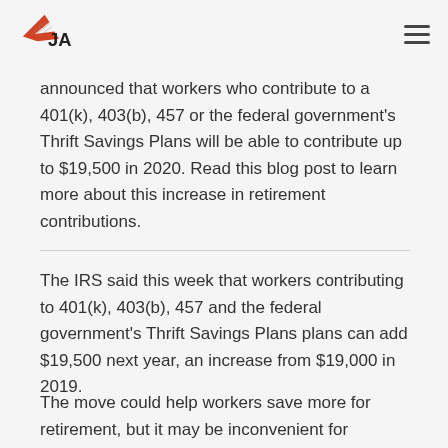JA logo and navigation
announced that workers who contribute to a 401(k), 403(b), 457 or the federal government's Thrift Savings Plans will be able to contribute up to $19,500 in 2020. Read this blog post to learn more about this increase in retirement contributions.
The IRS said this week that workers contributing to 401(k), 403(b), 457 and the federal government's Thrift Savings Plans plans can add $19,500 next year, an increase from $19,000 in 2019.
The move could help workers save more for retirement, but it may be inconvenient for employers who've already started open enrollment, experts say